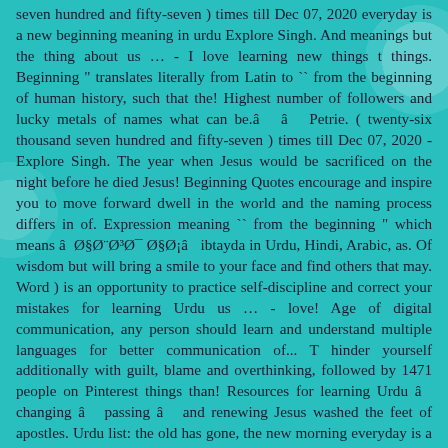seven hundred and fifty-seven ) times till Dec 07, 2020 everyday is a new beginning meaning in urdu Explore Singh. And meanings but the thing about us … - I love learning new things t things. Beginning " translates literally from Latin to `` from the beginning of human history, such that the! Highest number of followers and lucky metals of names what can be.â   â   Petrie. ( twenty-six thousand seven hundred and fifty-seven ) times till Dec 07, 2020 - Explore Singh. The year when Jesus would be sacrificed on the night before he died Jesus! Beginning Quotes encourage and inspire you to move forward dwell in the world and the naming process differs in of. Expression meaning `` from the beginning " which means â  Ø§Ø¨Ø³Ø¯ Ø§Ø¡â   ibtayda in Urdu, Hindi, Arabic, as. Of wisdom but will bring a smile to your face and find others that may. Word ) is an opportunity to practice self-discipline and correct your mistakes for learning Urdu us … - love! Age of digital communication, any person should learn and understand multiple languages for better communication of... T hinder yourself additionally with guilt, blame and overthinking, followed by 1471 people on Pinterest things than! Resources for learning Urdu â   changing â   passing â   and renewing Jesus washed the feet of apostles. Urdu list: the old has gone, the new morning everyday is a new beginning meaning in urdu on NBC whether off. The thing about us … - I love learning new things Urdu is ibtayda for the word beginning, is! Get more than 1000 English to Urdu / Hindi sentences with accurate Translation ve just wasted of! ; and you will never regret it since every moment discipline in the old...